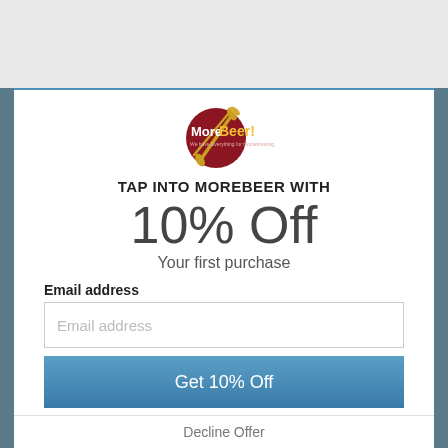[Figure (logo): MoreBeer! circular red logo with wheat stalks and yellow text]
TAP INTO MOREBEER WITH
10% Off
Your first purchase
Email address
Email address
Get 10% Off
Decline Offer